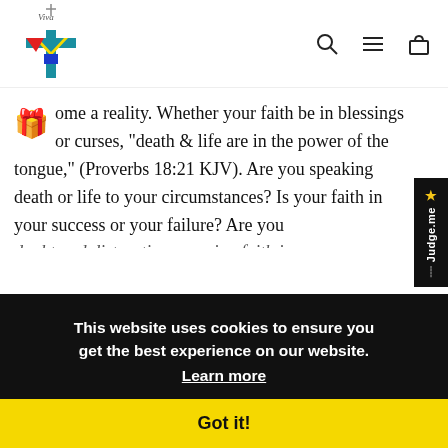[Figure (logo): Colorful cross logo with red, teal, yellow and blue elements and cursive text]
ome a reality. Whether your faith be in blessings or curses, “death & life are in the power of the tongue,” (Proverbs 18:21 KJV). Are you speaking death or life to your circumstances? Is your faith in your success or your failure? Are you doubt and distractions causing faith in complacency? Tell yourself NO MORE! The Spirit urges you alone! Don’t be blind to what you see, but build your faith until you can say what you see, and eventually you will see what hope for caught that. See your future! The Fam Reward! Sola Fid...
This website uses cookies to ensure you get the best experience on our website. Learn more
Got it!